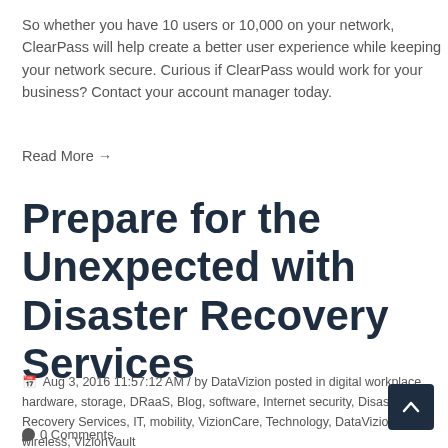So whether you have 10 users or 10,000 on your network, ClearPass will help create a better user experience while keeping your network secure. Curious if ClearPass would work for your business? Contact your account manager today.
Read More →
Prepare for the Unexpected with Disaster Recovery Services
Aug 3, 2016 11:57:12 AM / by DataVizion posted in digital workplace, hardware, storage, DRaaS, Blog, software, Internet security, Disaster Recovery Services, IT, mobility, VizionCare, Technology, DataVizion, wireless, VizionVault
0 Comments